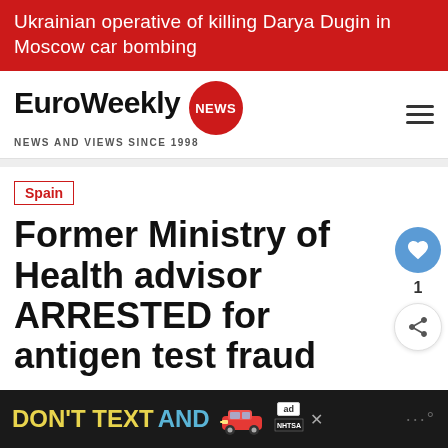Ukrainian operative of killing Darya Dugin in Moscow car bombing
[Figure (logo): EuroWeekly NEWS logo with red circular badge, tagline NEWS AND VIEWS SINCE 1998]
Spain
Former Ministry of Health advisor ARRESTED for antigen test fraud
By Laura Kemp · 04 February 2022 · 16:57
[Figure (infographic): DON'T TEXT AND advertisement banner with red car graphic and NHTSA badge]